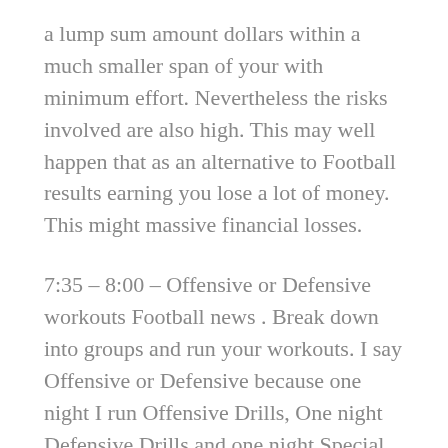a lump sum amount dollars within a much smaller span of your with minimum effort. Nevertheless the risks involved are also high. This may well happen that as an alternative to Football results earning you lose a lot of money. This might massive financial losses.
7:35 – 8:00 – Offensive or Defensive workouts Football news . Break down into groups and run your workouts. I say Offensive or Defensive because one night I run Offensive Drills, One night Defensive Drills and one night Special Organizations.
Top Football Sites – The 100 most popular football links on the net. Top sites include links to NFL, college, high school, and fantasy football internet websites.